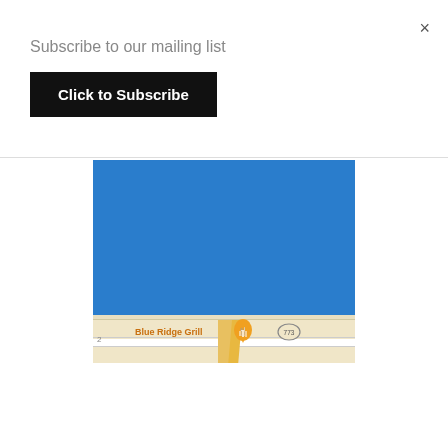×
Subscribe to our mailing list
Click to Subscribe
[Figure (map): Embedded map showing Blue Ridge Grill location with street map view, route 773 badge visible, orange restaurant pin marker]